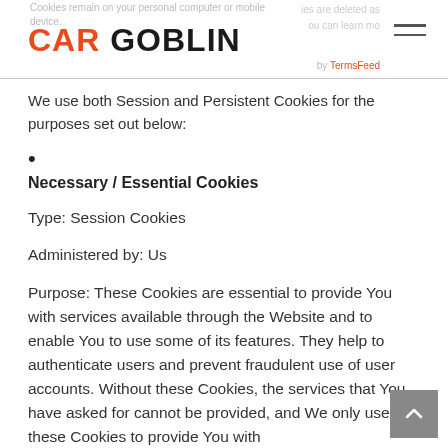CAR GOBLIN
We use both Session and Persistent Cookies for the purposes set out below:
Necessary / Essential Cookies

Type: Session Cookies

Administered by: Us

Purpose: These Cookies are essential to provide You with services available through the Website and to enable You to use some of its features. They help to authenticate users and prevent fraudulent use of user accounts. Without these Cookies, the services that You have asked for cannot be provided, and We only use these Cookies to provide You with